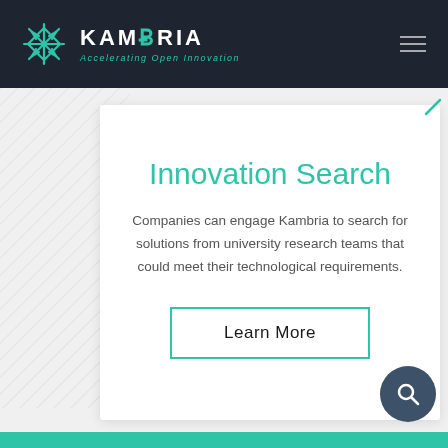[Figure (logo): Kambria logo with snowflake icon in teal, white text KAMBRIA and teal italic tagline Accelerating Open Innovation on dark navy background]
Innovation Search
Companies can engage Kambria to search for solutions from university research teams that could meet their technological requirements.
Learn More